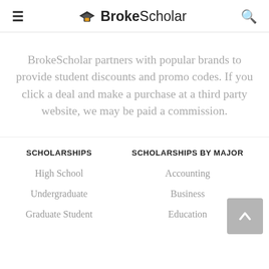BrokeScholar
BrokeScholar partners with popular brands to provide student discounts and promo codes. If you click a deal and make a purchase at a third party website, we may be paid a commission.
SCHOLARSHIPS
SCHOLARSHIPS BY MAJOR
High School
Accounting
Undergraduate
Business
Graduate Student
Education